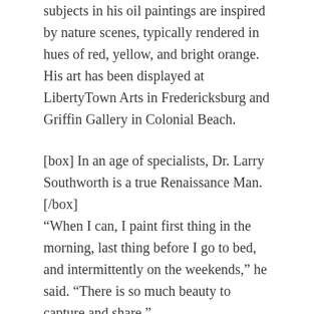subjects in his oil paint​ings are inspired by nature scenes, typically rendered in hues of red, yellow, and bright orange. His art has been displayed at LibertyTown Arts in Fredericksburg and Griffin Gallery in Colonial Beach.
[box] In an age of specialists, Dr. Larry Southworth is a true Renaissance Man.[/box]
“When I can, I paint first thing in the morning, last thing before I go to bed, and intermittently on the weekends,” he said. “There is so much beauty to capture and share.”
Dr. Southworth’s passion for art has been furthered by his world travels. His favorite destination is Provence, on the Mediterranean in the south of France, where many of the world’s most renowned painters converged in the 19th and 20th centuries. “I enjoyed retracing Van Gogh’s footsteps